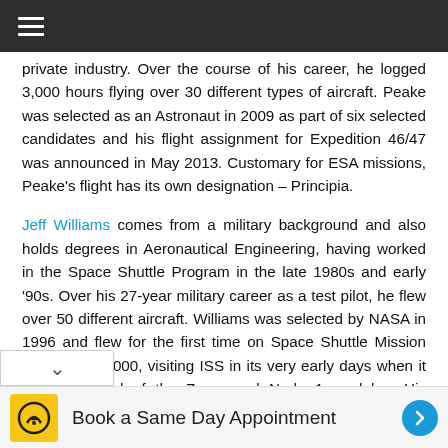Navigation bar with hamburger menu
private industry. Over the course of his career, he logged 3,000 hours flying over 30 different types of aircraft. Peake was selected as an Astronaut in 2009 as part of six selected candidates and his flight assignment for Expedition 46/47 was announced in May 2013. Customary for ESA missions, Peake's flight has its own designation – Principia.
Jeff Williams comes from a military background and also holds degrees in Aeronautical Engineering, having worked in the Space Shuttle Program in the late 1980s and early '90s. Over his 27-year military career as a test pilot, he flew over 50 different aircraft. Williams was selected by NASA in 1996 and flew for the first time on Space Shuttle Mission STS-101 in 2000, visiting ISS in its very early days when it only consisted of the Zarya and Node 1 modules. His second flight came in 2006 as part of Expedition 13, with the continuation of ISS outfitting and utilization in a
Book a Same Day Appointment